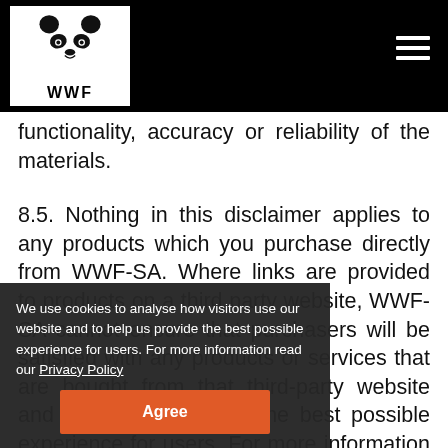WWF website header with logo and navigation
functionality, accuracy or reliability of the materials.
8.5. Nothing in this disclaimer applies to any products which you purchase directly from WWF-SA. Where links are provided to products on a third party website, WWF-SA cannot ensure that purchasers will be satisfied with any products or services that are bought from that third-party website and to help us provide the best possible experience for users. For more information read about the performance or otherwise of the product should be taken manufacturer or retailer direct. Except for products expressly sold by WWF-SA, the inclusion of a company's product
We use cookies to analyse how visitors use our website and to help us provide the best possible experience for users. For more information read our Privacy Policy
Agree